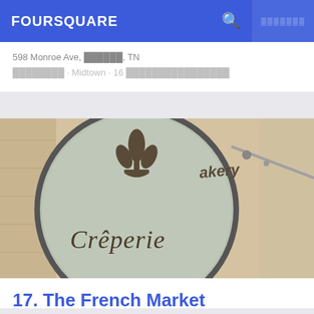FOURSQUARE
598 Monroe Ave, Memphis, TN
Restaurant · Midtown · 16 tips and reviews
[Figure (photo): Circular sign reading 'Bakery Crêperie' with fleur-de-lis logo, mounted on a bracket]
17. The French Market
526 S Gay St, Knoxville, TN
Crêperie · Downtown Knoxville · 44 tips and reviews